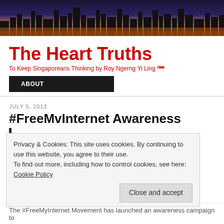[Figure (photo): City skyline at night banner photo — Singapore cityscape with illuminated skyscrapers and purple/amber night sky]
The Heart Truths
To Keep Singaporeans Thinking by Roy Ngerng Yi Ling 🇸🇬
ABOUT
JULY 5, 2013
#FreeMvInternet Awareness
Privacy & Cookies: This site uses cookies. By continuing to use this website, you agree to their use.
To find out more, including how to control cookies, see here: Cookie Policy
Close and accept
The #FreeMyInternet Movement has launched an awareness campaign to